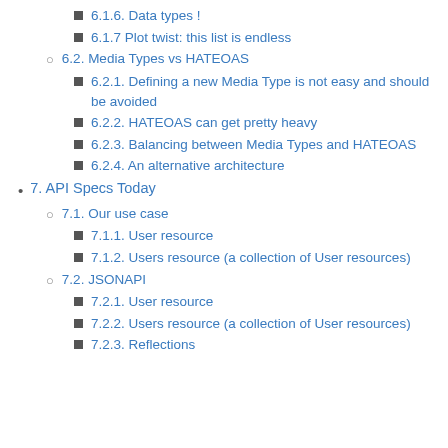6.1.6. Data types !
6.1.7 Plot twist: this list is endless
6.2. Media Types vs HATEOAS
6.2.1. Defining a new Media Type is not easy and should be avoided
6.2.2. HATEOAS can get pretty heavy
6.2.3. Balancing between Media Types and HATEOAS
6.2.4. An alternative architecture
7. API Specs Today
7.1. Our use case
7.1.1. User resource
7.1.2. Users resource (a collection of User resources)
7.2. JSONAPI
7.2.1. User resource
7.2.2. Users resource (a collection of User resources)
7.2.3. Reflections